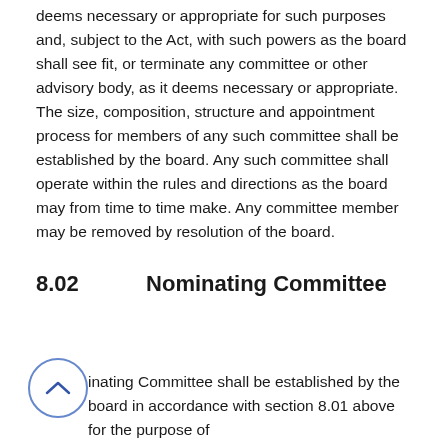deems necessary or appropriate for such purposes and, subject to the Act, with such powers as the board shall see fit, or terminate any committee or other advisory body, as it deems necessary or appropriate. The size, composition, structure and appointment process for members of any such committee shall be established by the board. Any such committee shall operate within the rules and directions as the board may from time to time make. Any committee member may be removed by resolution of the board.
8.02          Nominating Committee
A Nominating Committee shall be established by the board in accordance with section 8.01 above for the purpose of